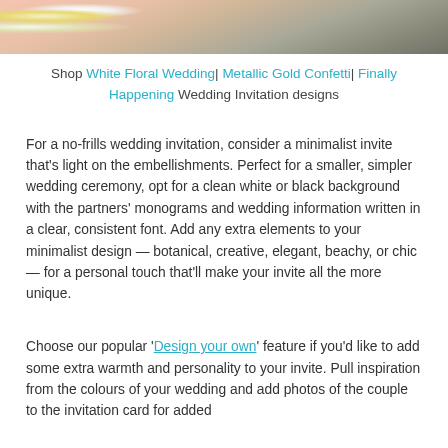[Figure (photo): Cropped top portion of a wedding-themed photo showing flowers (white daisies, yellow flowers) on a pink/salmon background on the left, and a dark grey/charcoal wedding invitation card on the right.]
Shop White Floral Wedding| Metallic Gold Confetti| Finally Happening Wedding Invitation designs
For a no-frills wedding invitation, consider a minimalist invite that's light on the embellishments. Perfect for a smaller, simpler wedding ceremony, opt for a clean white or black background with the partners' monograms and wedding information written in a clear, consistent font. Add any extra elements to your minimalist design — botanical, creative, elegant, beachy, or chic — for a personal touch that'll make your invite all the more unique.
Choose our popular 'Design your own' feature if you'd like to add some extra warmth and personality to your invite. Pull inspiration from the colours of your wedding and add photos of the couple to the invitation card for added